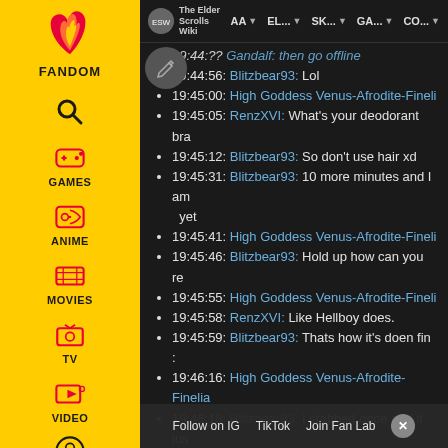[Figure (screenshot): Fandom website sidebar with yellow background showing navigation icons for Games, Anime, Movies, TV, Video categories, and a search icon and user profile icon.]
The Elder Scrolls Wiki | AA | EL... | SK... | GA... | CO...
19:44:?? Gandalf: then go offline (partial, cut off at top)
19:44:56: Blitzbear93: Lol
19:45:00: High Goddess Venus-Afrodite-Fineli (truncated)
19:45:05: RenzXVI: What's your deodorant bra (truncated)
19:45:12: Blitzbear93: So don't use hair xd
19:45:31: Blitzbear93: 10 more minutes and I am (truncated) yet
19:45:41: High Goddess Venus-Afrodite-Fineli (truncated)
19:45:46: Blitzbear93: Hold up how can you re (truncated)
19:45:55: High Goddess Venus-Afrodite-Fineli (truncated)
19:45:58: RenzXVI: Like Hellboy does.
19:45:59: Blitzbear93: Thats how it's doen fin : (truncated)
19:46:16: High Goddess Venus-Afrodite-Finelia (truncated)
19:46:18: Blitzbear93: I stabbed once and it jus (truncated)
19:46:26: High Goddess Venus-Afrodite-Fineli (truncated)
19:46:32: Blitzbear93: So I shoved it back in th (truncated)
19:??: (cut off at bottom)
Follow on IG   TikTok   Join Fan Lab   X